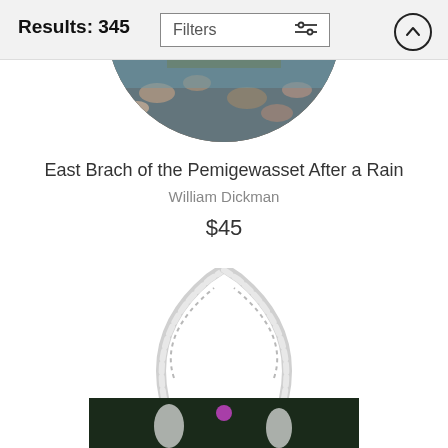Results: 345 | Filters
[Figure (photo): Circular cropped photo of East Brach of the Pemigewasset river with rocks and stream visible]
East Brach of the Pemigewasset After a Rain
William Dickman
$45
[Figure (photo): Product photo of a tote bag with rope handles, showing an artwork print on dark background]